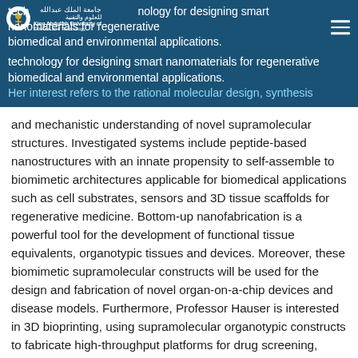technology for designing smart nanomaterials for regenerative biomedical and environmental applications. Her interest refers to the rational molecular design, synthesis
and mechanistic understanding of novel supramolecular structures. Investigated systems include peptide-based nanostructures with an innate propensity to self-assemble to biomimetic architectures applicable for biomedical applications such as cell substrates, sensors and 3D tissue scaffolds for regenerative medicine. Bottom-up nanofabrication is a powerful tool for the development of functional tissue equivalents, organotypic tissues and devices. Moreover, these biomimetic supramolecular constructs will be used for the design and fabrication of novel organ-on-a-chip devices and disease models. Furthermore, Professor Hauser is interested in 3D bioprinting, using supramolecular organotypic constructs to fabricate high-throughput platforms for drug screening, pathogen detection and other diagnostic purposes. Synthetic biology approaches are explored for the generation of functional biomaterial.